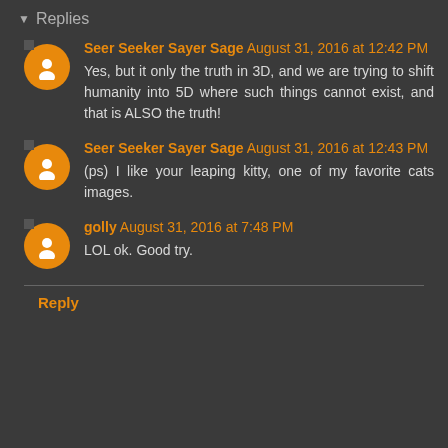Replies
Seer Seeker Sayer Sage August 31, 2016 at 12:42 PM
Yes, but it only the truth in 3D, and we are trying to shift humanity into 5D where such things cannot exist, and that is ALSO the truth!
Seer Seeker Sayer Sage August 31, 2016 at 12:43 PM
(ps) I like your leaping kitty, one of my favorite cats images.
golly August 31, 2016 at 7:48 PM
LOL ok. Good try.
Reply